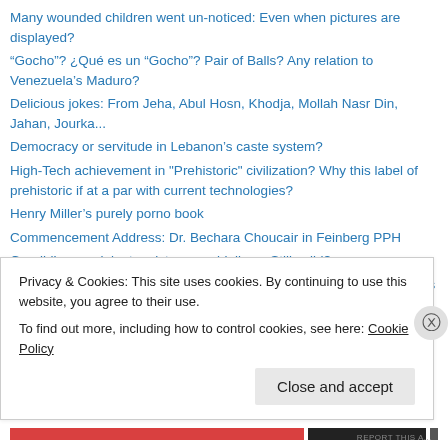Many wounded children went un-noticed: Even when pictures are displayed?
“Gocho”? ¿Qué es un “Gocho”? Pair of Balls? Any relation to Venezuela’s Maduro?
Delicious jokes: From Jeha, Abul Hosn, Khodja, Mollah Nasr Din, Jahan, Jourka...
Democracy or servitude in Lebanon’s caste system?
High-Tech achievement in "Prehistoric" civilization? Why this label of prehistoric if at a par with current technologies?
Henry Miller’s purely porno book
Commencement Address: Dr. Bechara Choucair in Feinberg PPH
Gandhi’s non-violent resistance guidelines: Still valid?
The Peltzman effects in Safety? Relying on high-tech gadgets? What is
Privacy & Cookies: This site uses cookies. By continuing to use this website, you agree to their use.
To find out more, including how to control cookies, see here: Cookie Policy
Close and accept